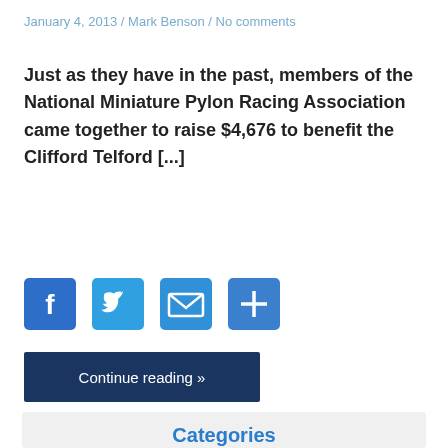January 4, 2013 / Mark Benson / No comments
Just as they have in the past, members of the National Miniature Pylon Racing Association came together to raise $4,676 to benefit the Clifford Telford [...]
[Figure (other): Social share icons: Facebook, Twitter, Email, Share (plus) buttons]
Continue reading »
Categories